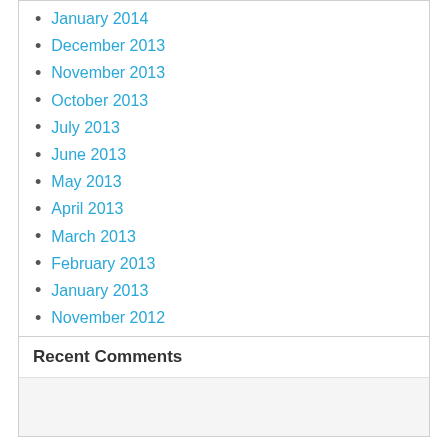January 2014
December 2013
November 2013
October 2013
July 2013
June 2013
May 2013
April 2013
March 2013
February 2013
January 2013
November 2012
October 2012
September 2012
Recent Comments